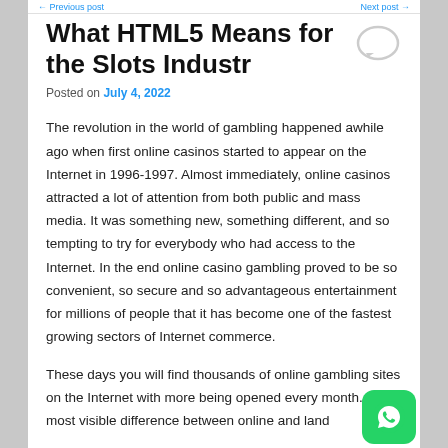← [link] … [link] →
What HTML5 Means for the Slots Industr
Posted on July 4, 2022
The revolution in the world of gambling happened awhile ago when first online casinos started to appear on the Internet in 1996-1997. Almost immediately, online casinos attracted a lot of attention from both public and mass media. It was something new, something different, and so tempting to try for everybody who had access to the Internet. In the end online casino gambling proved to be so convenient, so secure and so advantageous entertainment for millions of people that it has become one of the fastest growing sectors of Internet commerce.
These days you will find thousands of online gambling sites on the Internet with more being opened every month. The most visible difference between online and land